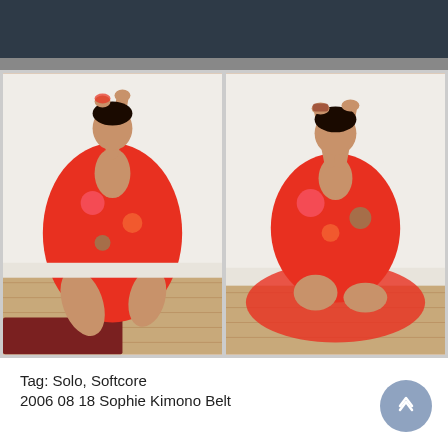[Figure (photo): Two side-by-side photographs of a woman wearing an open red floral kimono, sitting on a wooden parquet floor against a white wall, arms raised above her head.]
Tag: Solo, Softcore
2006 08 18 Sophie Kimono Belt